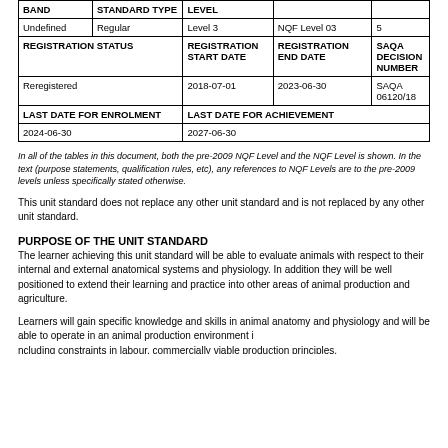| BAND | STANDARD TYPE | LEVEL |  |  |
| --- | --- | --- | --- | --- |
| Undefined | Regular | Level 3 | NQF Level 03 | 5 |
| REGISTRATION STATUS |  | REGISTRATION START DATE | REGISTRATION END DATE | SAQA DECISION NUMBER |
| Reregistered |  | 2018-07-01 | 2023-06-30 | SAQA 06120/18 |
| LAST DATE FOR ENROLMENT |  | LAST DATE FOR ACHIEVEMENT |  |  |
| 2024-06-30 |  | 2027-06-30 |  |  |
In all of the tables in this document, both the pre-2009 NQF Level and the NQF Level is shown. In the text (purpose statements, qualification rules, etc), any references to NQF Levels are to the pre-2009 levels unless specifically stated otherwise.
This unit standard does not replace any other unit standard and is not replaced by any other unit standard.
PURPOSE OF THE UNIT STANDARD
The learner achieving this unit standard will be able to evaluate animals with respect to their internal and external anatomical systems and physiology. In addition they will be well positioned to extend their learning and practice into other areas of animal production and agriculture.
Learners will gain specific knowledge and skills in animal anatomy and physiology and will be able to operate in an animal production environment including constraints in labour, commercially viable production principles,